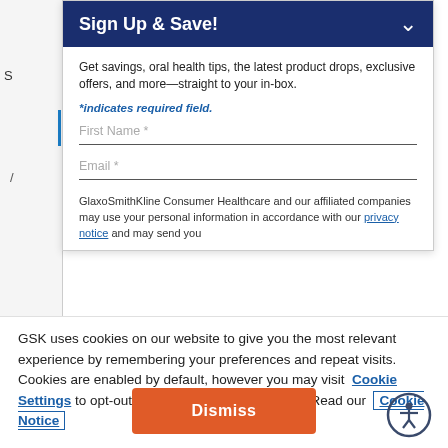Sign Up & Save!
Get savings, oral health tips, the latest product drops, exclusive offers, and more—straight to your in-box.
*indicates required field.
First Name *
Email *
GlaxoSmithKline Consumer Healthcare and our affiliated companies may use your personal information in accordance with our privacy notice and may send you
GSK uses cookies on our website to give you the most relevant experience by remembering your preferences and repeat visits. Cookies are enabled by default, however you may visit Cookie Settings to opt-out of cookie usage by category. Read our Cookie Notice
Dismiss